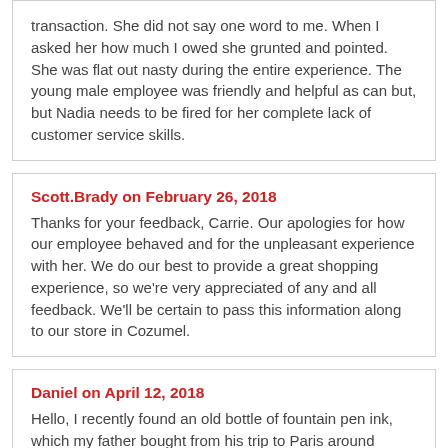transaction. She did not say one word to me. When I asked her how much I owed she grunted and pointed. She was flat out nasty during the entire experience. The young male employee was friendly and helpful as can but, but Nadia needs to be fired for her complete lack of customer service skills.
Scott.Brady on February 26, 2018
Thanks for your feedback, Carrie. Our apologies for how our employee behaved and for the unpleasant experience with her. We do our best to provide a great shopping experience, so we're very appreciated of any and all feedback. We'll be certain to pass this information along to our store in Cozumel.
Daniel on April 12, 2018
Hello, I recently found an old bottle of fountain pen ink, which my father bought from his trip to Paris around 1995-6. The bottle says DELSOL Paris on it and has a picture of a turtle, I was wondering if you're the manufacturer?